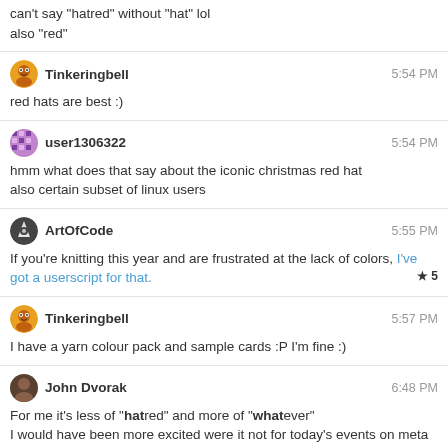can't say "hatred" without "hat" lol
also "red"
Tinkeringbell 5:54 PM
red hats are best :)
user1306322 5:54 PM
hmm what does that say about the iconic christmas red hat
also certain subset of linux users
ArtOfCode 5:55 PM
If you're knitting this year and are frustrated at the lack of colors, I've got a userscript for that. ★5
Tinkeringbell 5:57 PM
I have a yarn colour pack and sample cards :P I'm fine :)
John Dvorak 6:48 PM
For me it's less of "hatred" and more of "whatever"
I would have been more excited were it not for today's events on meta
0 - 19h
19 - 22h
22 - 0h
← prev day
next day →
last day »
join this room